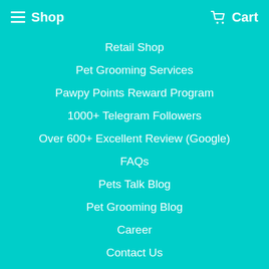Shop   Cart
Retail Shop
Pet Grooming Services
Pawpy Points Reward Program
1000+ Telegram Followers
Over 600+ Excellent Review (Google)
FAQs
Pets Talk Blog
Pet Grooming Blog
Career
Contact Us
ACCOUNT
Register/Login
My Account